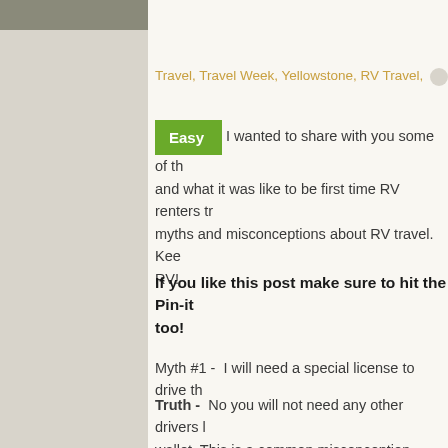Travel, Travel Week, Yellowstone, RV Travel,
Easy  I wanted to share with you some of the and what it was like to be first time RV renters traveling. myths and misconceptions about RV travel. Kee RV!
If you like this post make sure to hit the Pin-it too!
Myth #1 -  I will need a special license to drive th
Truth -  No you will not need any other drivers license than the one already in your wallet. This is a common misconception, probably because when you look at how much bigger that RV is compared to your car, you might think you need a specialist or even someone with a CDL (commercial drivers license) to operate. After about 30 minutes behind the wheel you